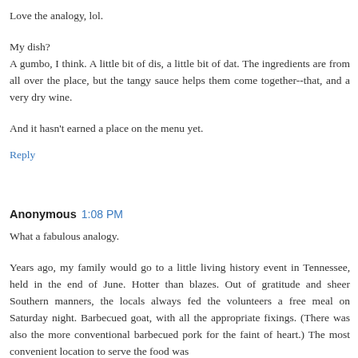Love the analogy, lol.
My dish?
A gumbo, I think. A little bit of dis, a little bit of dat. The ingredients are from all over the place, but the tangy sauce helps them come together--that, and a very dry wine.
And it hasn't earned a place on the menu yet.
Reply
Anonymous  1:08 PM
What a fabulous analogy.
Years ago, my family would go to a little living history event in Tennessee, held in the end of June. Hotter than blazes. Out of gratitude and sheer Southern manners, the locals always fed the volunteers a free meal on Saturday night. Barbecued goat, with all the appropriate fixings. (There was also the more conventional barbecued pork for the faint of heart.) The most convenient location to serve the food was